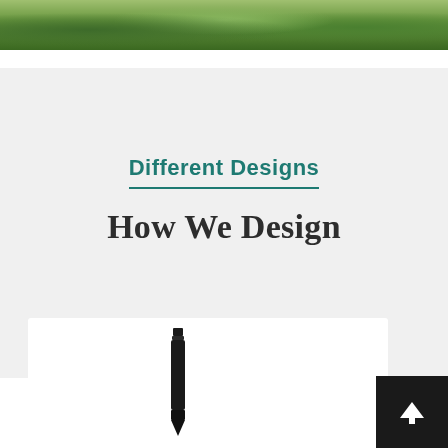[Figure (photo): Partial nature/plant photo strip at the top of the page showing green foliage/plants against a soil background]
Different Designs
How We Design
[Figure (photo): A dark/black pen or stylus photographed vertically on a white background inside a white card]
[Figure (other): Black square button with white upward arrow icon (scroll-to-top button) in the bottom-right corner]